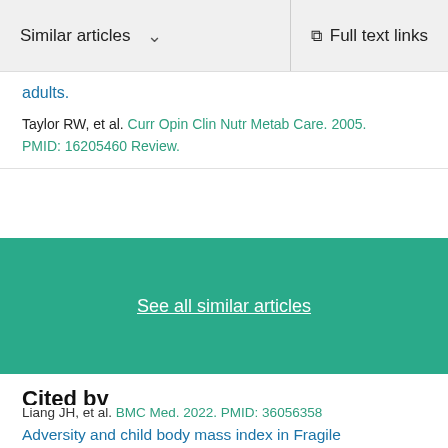Similar articles  ∨    Full text links
adults.
Taylor RW, et al. Curr Opin Clin Nutr Metab Care. 2005. PMID: 16205460 Review.
See all similar articles
Cited by
Face-to-face physical activity incorporated into dietary intervention for overweight/obesity in children and adolescents: a Bayesian network meta-analysis.
Liang JH, et al. BMC Med. 2022. PMID: 36056358
Adversity and child body mass index in Fragile